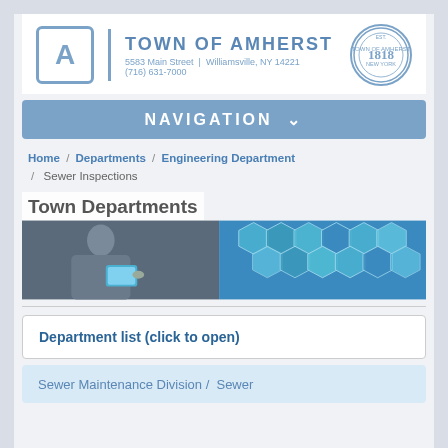[Figure (logo): Town of Amherst logo with 'A' icon, town name, address, and official seal]
NAVIGATION
Home / Departments / Engineering Department / Sewer Inspections
[Figure (photo): Banner image showing 'Town Departments' with a person using a tablet and blue hexagonal shapes]
Department list (click to open)
Sewer Maintenance Division / Sewer